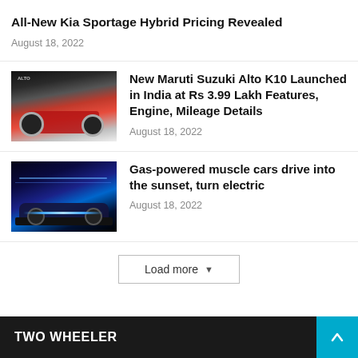All-New Kia Sportage Hybrid Pricing Revealed
August 18, 2022
[Figure (photo): Red Maruti Suzuki Alto K10 car at a launch event]
New Maruti Suzuki Alto K10 Launched in India at Rs 3.99 Lakh Features, Engine, Mileage Details
August 18, 2022
[Figure (photo): Dark muscle/electric car on a dramatic blue-lit stage]
Gas-powered muscle cars drive into the sunset, turn electric
August 18, 2022
Load more
TWO WHEELER